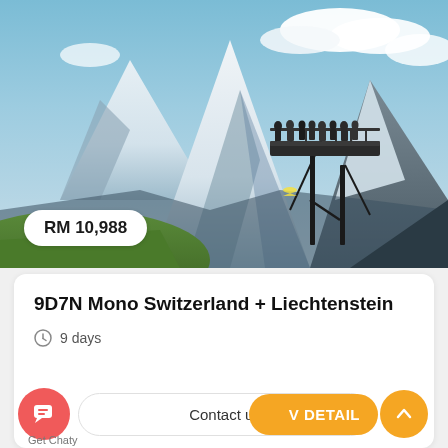[Figure (photo): A scenic alpine photo showing a steel observation platform/walkway jutting out over a snow-capped mountain valley with people standing on it, blue sky with clouds, green hillside in foreground]
RM 10,988
9D7N Mono Switzerland + Liechtenstein
9 days
Contact us
V DETAIL
Get Chaty